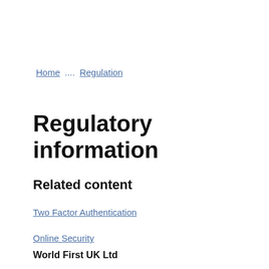Home  ....  Regulation
Regulatory information
Related content
Two Factor Authentication
Online Security
World First UK Ltd